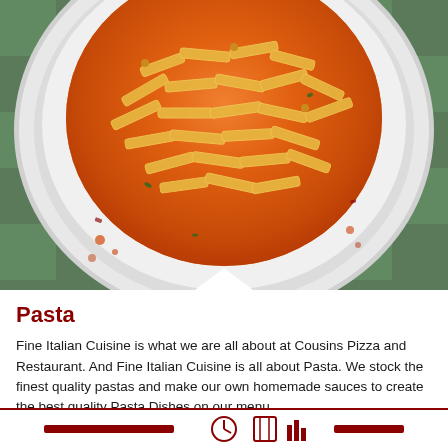[Figure (photo): A white plate of penne pasta in a creamy tomato/orange sauce, viewed from above on a green checkered tablecloth. Scattered herbs and sauce drops visible on the plate rim.]
Pasta
Fine Italian Cuisine is what we are all about at Cousins Pizza and Restaurant. And Fine Italian Cuisine is all about Pasta. We stock the finest quality pastas and make our own homemade sauces to create the best quality Pasta Dishes on our menu.
[Figure (infographic): Bottom navigation/icon bar with restaurant service icons in dark red/maroon color]